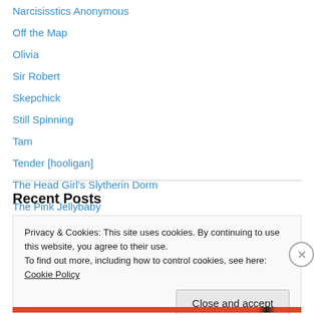Narcisisstics Anonymous
Off the Map
Olivia
Sir Robert
Skepchick
Still Spinning
Tam
Tender [hooligan]
The Head Girl's Slytherin Dorm
The Pink Jellybaby
Recent Posts
Privacy & Cookies: This site uses cookies. By continuing to use this website, you agree to their use.
To find out more, including how to control cookies, see here: Cookie Policy